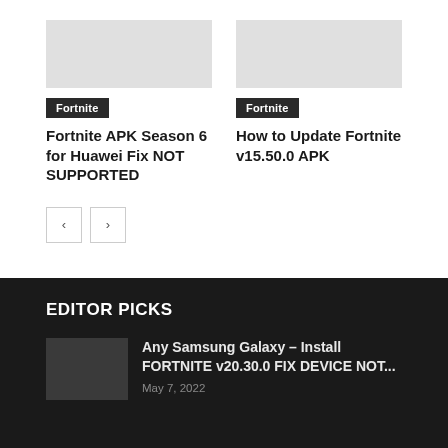[Figure (photo): Thumbnail image placeholder for Fortnite APK Season 6 article (left card)]
Fortnite
Fortnite APK Season 6 for Huawei Fix NOT SUPPORTED
[Figure (photo): Thumbnail image placeholder for How to Update Fortnite v15.50.0 APK article (right card)]
Fortnite
How to Update Fortnite v15.50.0 APK
< >
EDITOR PICKS
[Figure (photo): Thumbnail image placeholder for Samsung Galaxy Fortnite article]
Any Samsung Galaxy – Install FORTNITE v20.30.0 FIX DEVICE NOT...
May 7, 2022